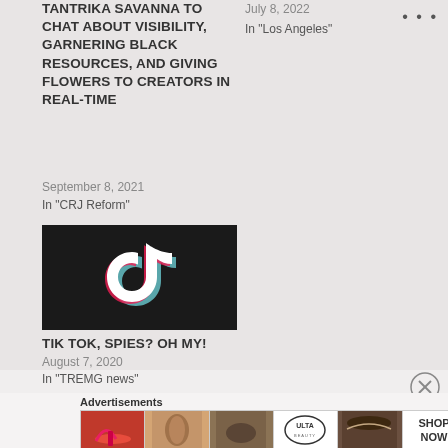TANTRIKA SAVANNA TO CHAT ABOUT VISIBILITY, GARNERING BLACK RESOURCES, AND GIVING FLOWERS TO CREATORS IN REAL-TIME
July 8, 2022
In "Los Angeles"
September 8, 2021
In "CRJ Reform"
[Figure (logo): TikTok logo on dark background]
TIK TOK, SPIES? OH MY!
August 7, 2020
In "TREMG news"
Advertisements
[Figure (infographic): Ulta Beauty advertisement banner showing makeup and cosmetics imagery with SHOP NOW call to action]